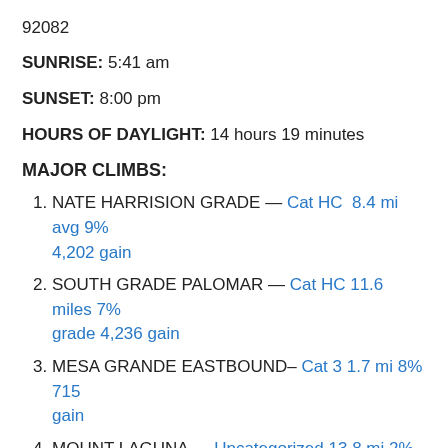92082
SUNRISE: 5:41 am
SUNSET: 8:00 pm
HOURS OF DAYLIGHT: 14 hours 19 minutes
MAJOR CLIMBS:
NATE HARRISION GRADE — Cat HC 8.4 mi avg 9% 4,202 gain
SOUTH GRADE PALOMAR — Cat HC 11.6 miles 7% grade 4,236 gain
MESA GRANDE EASTBOUND– Cat 3 1.7 mi 8% 715 gain
MOUNT LAGUNA — Uncategorized 13.8 mi 2% 1,309 gain